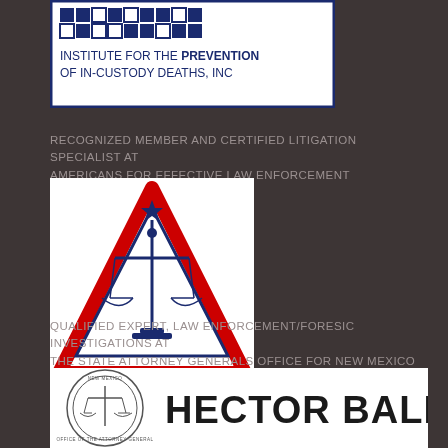[Figure (logo): IPICD - Institute for the Prevention of In-Custody Deaths, Inc. logo with blue border and dark blue text on white background]
RECOGNIZED MEMBER AND CERTIFIED LITIGATION SPECIALIST AT AMERICANS FOR EFFECTIVE LAW ENFORCEMENT
[Figure (logo): AELE - Americans for Effective Law Enforcement logo showing scales of justice inside a red triangle on white background with blue AELE text and registered trademark symbol]
QUALIFIED EXPERT, LAW ENFORCEMENT/FORESIC INVESTIGATIONS AT THE STATE ATTORNEY GENERALS OFFICE FOR NEW MEXICO
[Figure (logo): Hector Balderas - New Mexico Office of the Attorney General logo with circular seal on left and bold HECTOR BALDERAS text on white background]